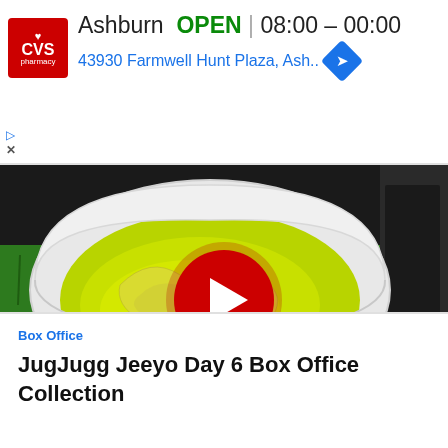[Figure (screenshot): CVS Pharmacy advertisement banner showing store location in Ashburn, open 08:00-00:00, address 43930 Farmwell Hunt Plaza, Ash..., with navigation arrow icon and ad controls]
[Figure (screenshot): Video player showing toilet bowl with green/yellow contents on green grass background, with red circular play button overlay and video controls bar showing 00:00 / 0 timestamp]
Box Office
JugJugg Jeeyo Day 6 Box Office Collection